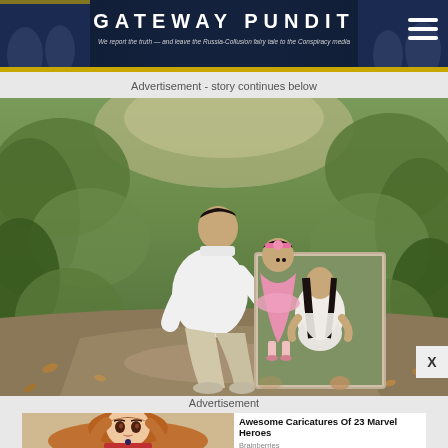GATEWAY PUNDIT — We report the truth — and leave the Russia-Collusion fairy tale to the Conspiracy media
Advertisement - story continues below
[Figure (photo): A man crouching outdoors on a dirt path holding a large framed photograph of a pregnant woman, with a toddler girl in a pink tutu dress beside him, surrounded by green foliage]
Advertisement
[Figure (illustration): Anime-style caricature illustration of a woman with long auburn hair and red top]
Awesome Caricatures Of 23 Marvel Heroes
Brainberries